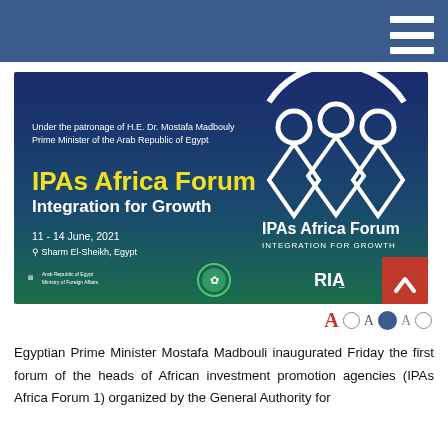[Figure (illustration): IPAs Africa Forum – Integration for Growth banner. Dark blue/green gradient background. Text: 'Under the patronage of H.E. Dr. Mostafa Madbouly, Prime Minister of the Arab Republic of Egypt'. Large yellow text: 'IPAs Africa Forum' and white text 'Integration for Growth'. Date: '11 – 14 June, 2021'. Location: 'Sharm El-Sheikh, Egypt'. White logo of three figures under an arch on right side. 'IPAs Africa Forum INTEGRATION FOR GROWTH' text on right. Arab Republic of Egypt Ministry of Foreign Affairs logo bottom left. Green circle logo center bottom. 'RIA' logo bottom right. Red scroll-to-top button bottom right corner.]
Egyptian Prime Minister Mostafa Madbouli inaugurated Friday the first forum of the heads of African investment promotion agencies (IPAs Africa Forum 1) organized by the General Authority for